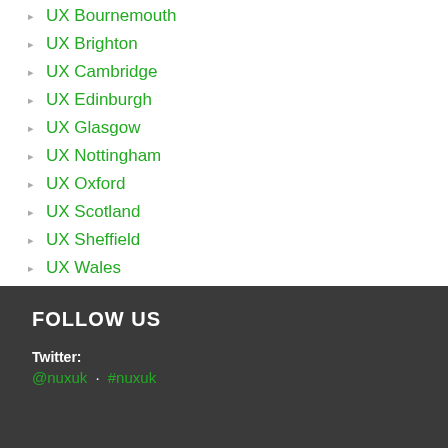UX Bournemouth
UX Brighton
UX Cambridge
UX Edinburgh
UX Glasgow
UX Nottingham
UX Oxford
UX Scotland
UX Sheffield
UX Wales
FOLLOW US
Twitter:
@nuxuk · #nuxuk